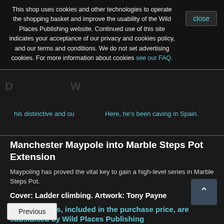This shop uses cookies and other technologies to operate the shopping basket and improve the usability of the Wild Places Publishing website. Continued use of this site indicates your acceptance of our privacy and cookies policy, and our terms and conditions. We do not set advertising cookies. For more information about cookies see our FAQ.
close
Manchester Maypole into Marble Steps Pot Extension
Maypoling has proved the vital key to gain a high-level series in Marble Steps Pot.
Cover: Ladder climbing. Artwork: Tony Payne
Postage costs, included in the purchase price, are subsidised by Wild Places Publishing
Click here to subscribe or renew an existing subscription